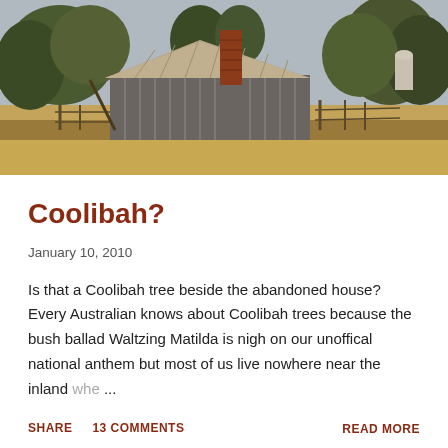[Figure (photo): Photograph of an abandoned rural building with a rusty corrugated iron roof and brick chimney, surrounded by dry golden grass, wooden fences, and eucalyptus trees in an Australian outback landscape.]
Coolibah?
January 10, 2010
Is that a Coolibah tree beside the abandoned house? Every Australian knows about Coolibah trees because the bush ballad Waltzing Matilda is nigh on our unoffical national anthem but most of us live nowhere near the inland whe ...
SHARE   13 COMMENTS   READ MORE